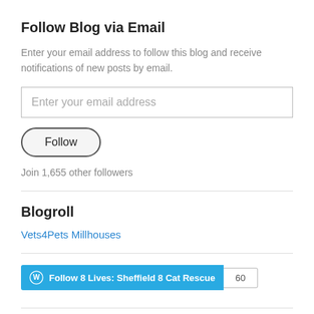Follow Blog via Email
Enter your email address to follow this blog and receive notifications of new posts by email.
[Figure (screenshot): Email input field with placeholder text 'Enter your email address']
[Figure (screenshot): Follow button with rounded pill shape border]
Join 1,655 other followers
Blogroll
Vets4Pets Millhouses
[Figure (screenshot): WordPress Follow button widget: 'Follow 8 Lives: Sheffield 8 Cat Rescue' with count badge showing 60]